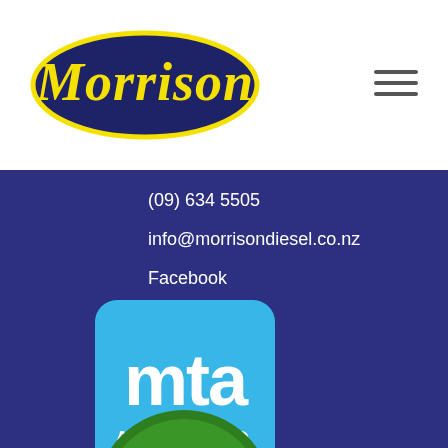[Figure (logo): Morrison Diesel logo: dark navy oval with yellow outline and yellow italic 'Morrison' text]
[Figure (other): Hamburger menu icon (three horizontal lines)]
(09) 634 5505
info@morrisondiesel.co.nz
Facebook
[Figure (logo): MTA Assured logo: cyan/light blue rounded square with white 'mta' text and 'ASSURED' below]
[Figure (logo): VASA logo: circular green badge with yellow 'VASA' text and wavy lines pattern at bottom]